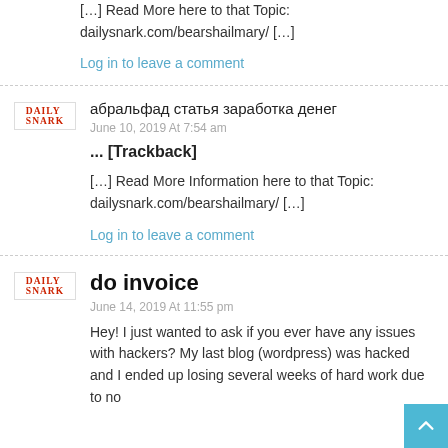[…] Read More here to that Topic: dailysnark.com/bearshailmary/ […]
Log in to leave a comment
ааааааааа аааааа аааааааа ааааа
June 10, 2019 At 7:54 am
... [Trackback]
[…] Read More Information here to that Topic: dailysnark.com/bearshailmary/ […]
Log in to leave a comment
do invoice
June 14, 2019 At 11:55 pm
Hey! I just wanted to ask if you ever have any issues with hackers? My last blog (wordpress) was hacked and I ended up losing several weeks of hard work due to no